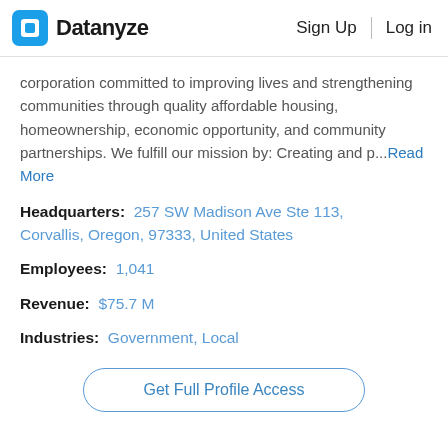Datanyze | Sign Up | Log in
corporation committed to improving lives and strengthening communities through quality affordable housing, homeownership, economic opportunity, and community partnerships. We fulfill our mission by: Creating and p...Read More
Headquarters: 257 SW Madison Ave Ste 113, Corvallis, Oregon, 97333, United States
Employees: 1,041
Revenue: $75.7 M
Industries: Government, Local
Get Full Profile Access